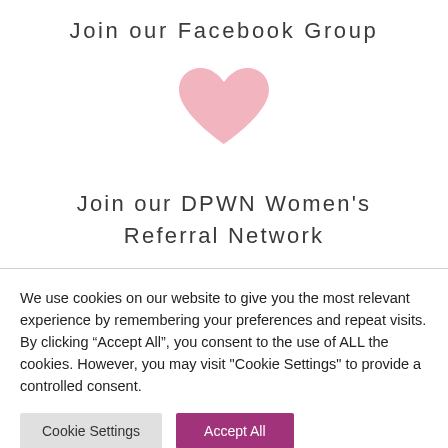Join our Facebook Group
[Figure (illustration): A pink heart icon centered on the page]
Join our DPWN Women's Referral Network
We use cookies on our website to give you the most relevant experience by remembering your preferences and repeat visits. By clicking “Accept All”, you consent to the use of ALL the cookies. However, you may visit "Cookie Settings" to provide a controlled consent.
Cookie Settings | Accept All